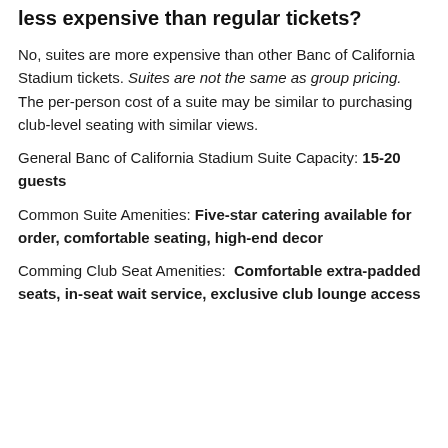less expensive than regular tickets?
No, suites are more expensive than other Banc of California Stadium tickets. Suites are not the same as group pricing. The per-person cost of a suite may be similar to purchasing club-level seating with similar views.
General Banc of California Stadium Suite Capacity: 15-20 guests
Common Suite Amenities: Five-star catering available for order, comfortable seating, high-end decor
Comming Club Seat Amenities: Comfortable extra-padded seats, in-seat wait service, exclusive club lounge access